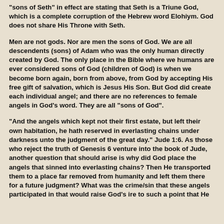"sons of Seth" in effect are stating that Seth is a Triune God, which is a complete corruption of the Hebrew word Elohiym. God does not share His Throne with Seth.
Men are not gods. Nor are men the sons of God. We are all descendents (sons) of Adam who was the only human directly created by God. The only place in the Bible where we humans are ever considered sons of God (children of God) is when we become born again, born from above, from God by accepting His free gift of salvation, which is Jesus His Son. But God did create each individual angel; and there are no references to female angels in God’s word. They are all “sons of God”.
“And the angels which kept not their first estate, but left their own habitation, he hath reserved in everlasting chains under darkness unto the judgment of the great day.” Jude 1:6. As those who reject the truth of Genesis 6 venture into the book of Jude, another question that should arise is why did God place the angels that sinned into everlasting chains? Then He transported them to a place far removed from humanity and left them there for a future judgment? What was the crime/sin that these angels participated in that would raise God’s ire to such a point that He